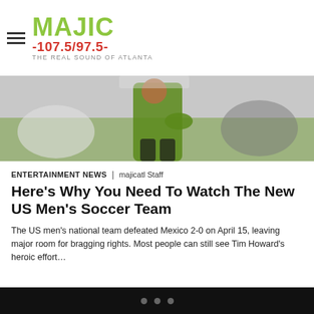MAJIC 107.5/97.5 — THE REAL SOUND OF ATLANTA
[Figure (photo): Soccer player in green uniform on a field]
ENTERTAINMENT NEWS | majicatl Staff
Here's Why You Need To Watch The New US Men's Soccer Team
The US men's national team defeated Mexico 2-0 on April 15, leaving major room for bragging rights. Most people can still see Tim Howard's heroic effort…
[Figure (photo): Two people in yellow hazmat suits with goggles and masks]